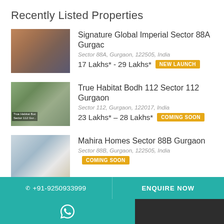Recently Listed Properties
Signature Global Imperial Sector 88A Gurgaon
Sector 88A, Gurgaon, 122505, India
17 Lakhs* - 29 Lakhs* NEW LAUNCH
True Habitat Bodh 112 Sector 112 Gurgaon
Sector 112, Gurgaon, 122017, India
23 Lakhs* – 28 Lakhs* COMING SOON
Mahira Homes Sector 88B Gurgaon
Sector 88B, Gurgaon, 122505, India
COMING SOON
Our Agents
☎ +91-9250933999   ENQUIRE NOW